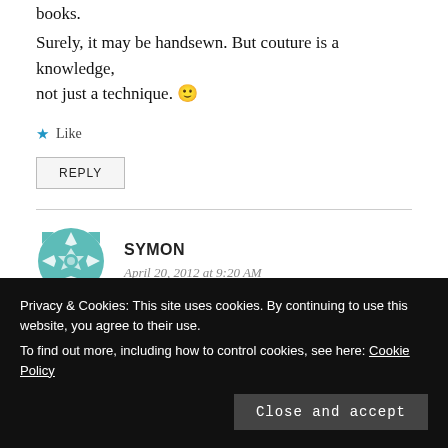books.
Surely, it may be handsewn. But couture is a knowledge, not just a technique. 🙂
Like
REPLY
SYMON
April 20, 2012 at 9:20 AM
Privacy & Cookies: This site uses cookies. By continuing to use this website, you agree to their use. To find out more, including how to control cookies, see here: Cookie Policy
Close and accept
if the design house meets certain criteria; most of which